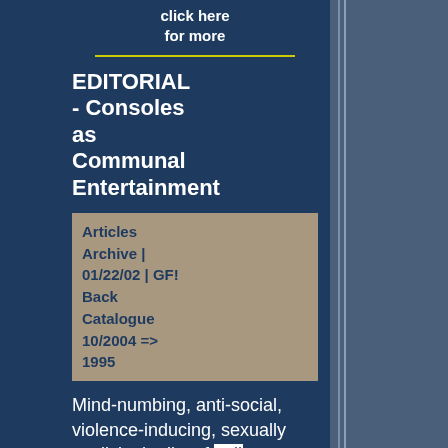click here for more
EDITORIAL - Consoles as Communal Entertainment
Articles Archive | 01/22/02 | GF! Back Catalogue 10/2004 => 1995
Mind-numbing, anti-social, violence-inducing, sexually explicit: the list of evils attributed to video